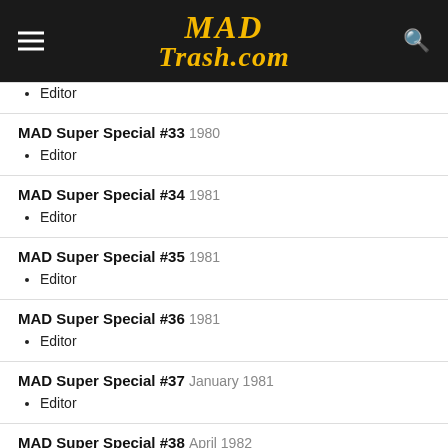MAD Trash.com
Editor
MAD Super Special #33 1980
Editor
MAD Super Special #34 1981
Editor
MAD Super Special #35 1981
Editor
MAD Super Special #36 1981
Editor
MAD Super Special #37 January 1981
Editor
MAD Super Special #38 April 1982
Editor